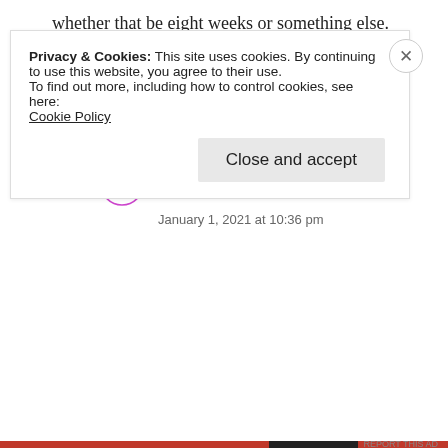whether that be eight weeks or something else.
★ Like
Reply
Jean
January 1, 2021 at 10:36 pm
Privacy & Cookies: This site uses cookies. By continuing to use this website, you agree to their use.
To find out more, including how to control cookies, see here:
Cookie Policy
Close and accept